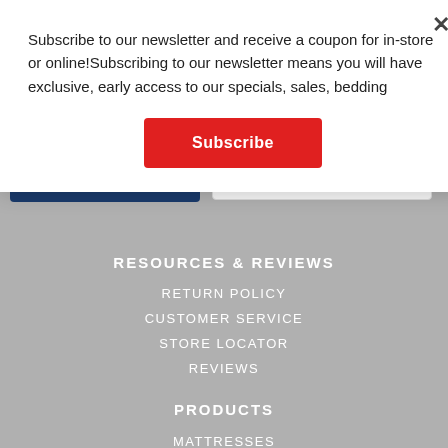Subscribe to our newsletter and receive a coupon for in-store or online!Subscribing to our newsletter means you will have exclusive, early access to our specials, sales, bedding
Subscribe
×
FIND A LOCATION
RESOURCES & REVIEWS
RETURN POLICY
CUSTOMER SERVICE
STORE LOCATOR
REVIEWS
PRODUCTS
MATTRESSES